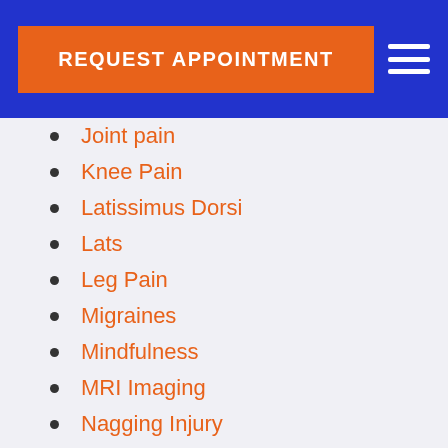REQUEST APPOINTMENT
Joint pain
Knee Pain
Latissimus Dorsi
Lats
Leg Pain
Migraines
Mindfulness
MRI Imaging
Nagging Injury
Neck Pain
Nerves
Nutrition
Orthotics
Osteoarthritis